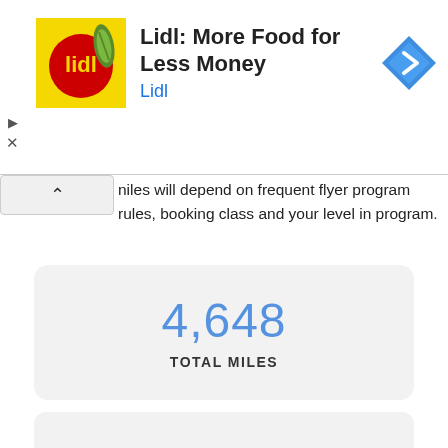[Figure (screenshot): Lidl advertisement banner with yellow logo image, text 'Lidl: More Food for Less Money', blue 'Lidl' subtitle, and a blue navigation arrow icon on the right]
miles will depend on frequent flyer program rules, booking class and your level in program.
4,648
TOTAL MILES